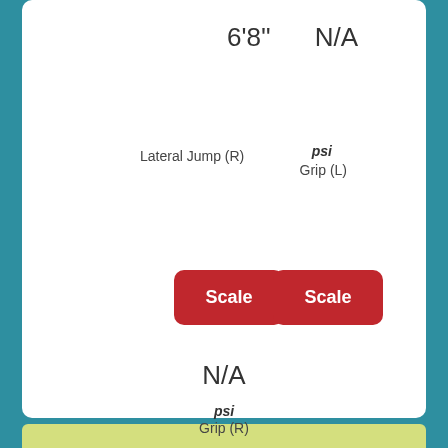6'8''
N/A
Lateral Jump (R)
psi
Grip (L)
[Figure (other): Red Scale button (left)]
[Figure (other): Red Scale button (right)]
N/A
psi
Grip (R)
[Figure (other): Red Scale button (center bottom)]